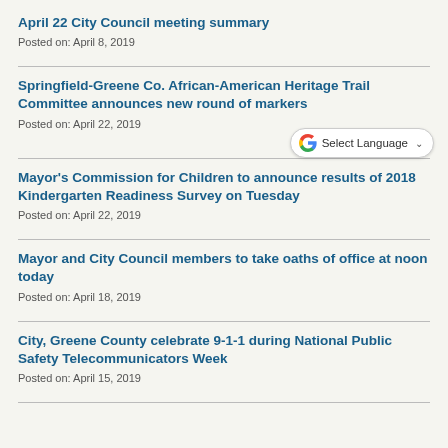April 22 City Council meeting summary
Posted on: April 8, 2019
Springfield-Greene Co. African-American Heritage Trail Committee announces new round of markers
Posted on: April 22, 2019
[Figure (other): Google Translate widget with 'Select Language' dropdown]
Mayor's Commission for Children to announce results of 2018 Kindergarten Readiness Survey on Tuesday
Posted on: April 22, 2019
Mayor and City Council members to take oaths of office at noon today
Posted on: April 18, 2019
City, Greene County celebrate 9-1-1 during National Public Safety Telecommunicators Week
Posted on: April 15, 2019